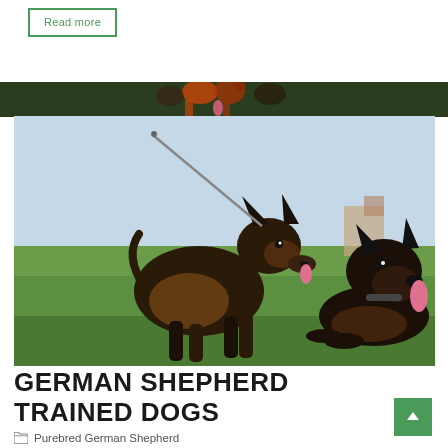Read more
[Figure (photo): Two German Shepherd dogs on a grassy field, one standing on a leash, one lying down, both panting with tongues out]
September 01, 2022
GERMAN SHEPHERD TRAINED DOGS
Purebred German Shepherd